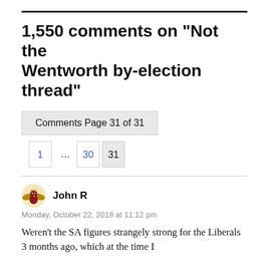1,550 comments on “Not the Wentworth by-election thread”
Comments Page 31 of 31
1 … 30 31
John R
Monday, October 22, 2018 at 11:12 pm
Weren’t the SA figures strangely strong for the Liberals 3 months ago, which at the time I